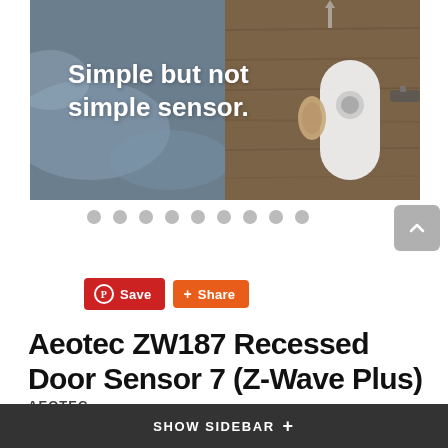[Figure (photo): Product lifestyle photo of a door sensor/lock hardware with text overlay reading 'Simple but not simple sensor.' on a blurred interior background on the left and a wooden door with a lock on the right.]
Simple but not simple sensor.
[Figure (other): Navigation dots (9 gray circles) and a gray up-arrow button for a product image carousel.]
Save   Share
Aeotec ZW187 Recessed Door Sensor 7 (Z-Wave Plus)
AEOTEC
$39.99
SHOW SIDEBAR +